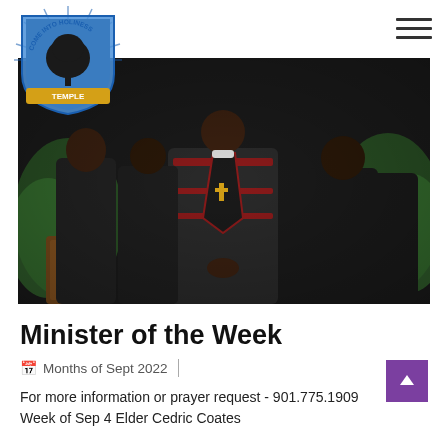[Figure (logo): Come Into Holiness Temple church logo — shield with tree and rays, text 'COME INTO HOLINESS' arcing at top, 'TEMPLE' on banner at bottom]
[Figure (photo): Group photo of ministers/elders in black robes and clerical dress standing at the front of a church, green plants in background, wooden pulpit visible]
Minister of the Week
Months of Sept 2022
For more information or prayer request - 901.775.1909
Week of Sep 4 Elder Cedric Coates